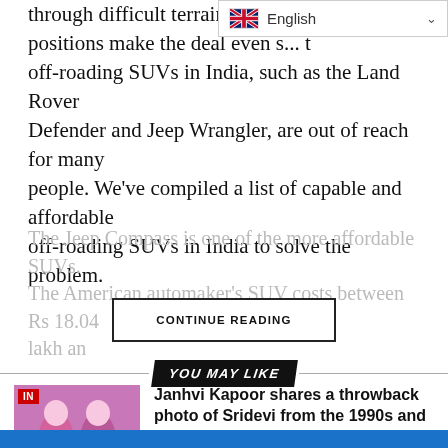[Figure (screenshot): Language selector dropdown showing UK flag and 'English' with a chevron]
through difficult terrain. The V... positions make the deal even s... off-roading SUVs in India, such as the Land Rover Defender and Jeep Wrangler, are out of reach for many people. We've compiled a list of capable and affordable off-roading SUVs in India to solve the problem.
The Jeep Compass is one of the more affordable SUVs. The American automaker's SUV costs between Rs 18.04 lakh an...
CONTINUE READING
YOU MAY LIKE
[Figure (photo): Thumbnail image of Janhvi Kapoor article with red IN badge]
Janhvi Kapoor shares a throwback photo of Sridevi from the 1990s and remembers her: "Every day I miss you more and more,"
[Figure (photo): Thumbnail image of Ananya Panday article with red IN badge]
In a backless top and jeans, Ananya Panday makes the cutest eye candy for Liger